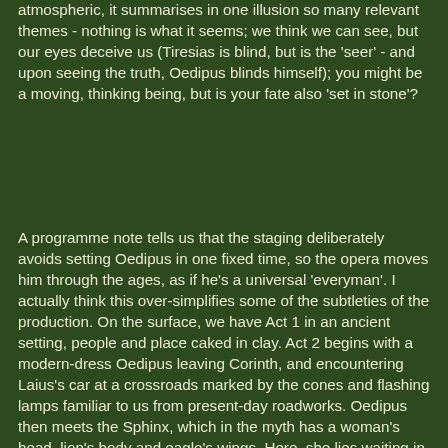atmospheric, it summarises in one illusion so many relevant themes - nothing is what it seems; we think we can see, but our eyes deceive us (Tiresias is blind, but is the 'seer' - and upon seeing the truth, Oedipus blinds himself); you might be a moving, thinking being, but is your fate also 'set in stone'?
A programme note tells us that the staging deliberately avoids setting Oedipus in one fixed time, so the opera moves him through the ages, as if he's a universal 'everyman'. I actually think this over-simplifies some of the subtleties of the production. On the surface, we have Act 1 in an ancient setting, people and place caked in clay. Act 2 begins with a modern-dress Oedipus leaving Corinth, and encountering Laius's car at a crossroads marked by the cones and flashing lamps familiar to us from present-day roadworks. Oedipus then meets the Sphinx, which in the myth has a woman's head, lion's body and eagle's wings. Here, she lies waiting in the cockpit of a grounded warplane. Act 3 retains a military feel but with men and women alike kitted out in the dark, dusty shades of martial law and contemporary warfare. Finally, at Colonus, we seem to be free of any specific date-line, except the Athenians appear in